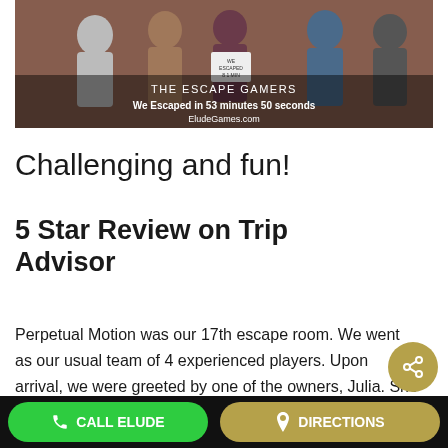[Figure (photo): Group photo of people standing in front of a brick wall holding a sign. Text overlay reads 'THE ESCAPE GAMERS / We Escaped in 53 minutes 50 seconds / EludeGames.com']
Challenging and fun!
5 Star Review on Trip Advisor
Perpetual Motion was our 17th escape room. We went as our usual team of 4 experienced players. Upon arrival, we were greeted by one of the owners, Julia. She was extremely friendly, and we
CALL ELUDE    DIRECTIONS